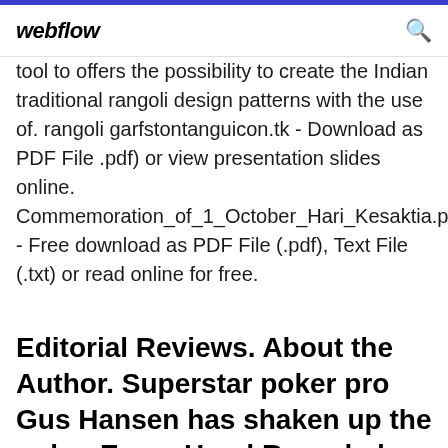webflow
tool to offers the possibility to create the Indian traditional rangoli design patterns with the use of. rangoli garfstontanguicon.tk - Download as PDF File .pdf) or view presentation slides online. Commemoration_of_1_October_Hari_Kesaktia.p - Free download as PDF File (.pdf), Text File (.txt) or read online for free.
Editorial Reviews. About the Author. Superstar poker pro Gus Hansen has shaken up the poker Every Hand Revealed - Kindle